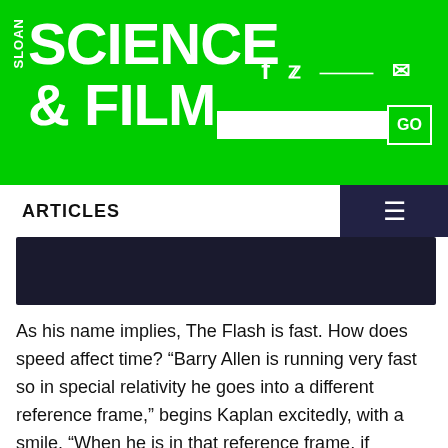[Figure (logo): Sloan Science & Film logo on green background with social media icons and search bar]
ARTICLES
[Figure (photo): Dark navy banner image strip]
As his name implies, The Flash is fast. How does speed affect time? "Barry Allen is running very fast so in special relativity he goes into a different reference frame," begins Kaplan excitedly, with a smile. "When he is in that reference frame, if somebody could actually see his watch as he was running that fast, they would notice that his watch is running slower than their own